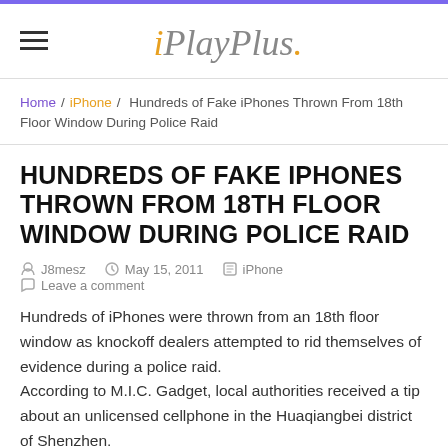iPlayPlus.
Home / iPhone / Hundreds of Fake iPhones Thrown From 18th Floor Window During Police Raid
HUNDREDS OF FAKE IPHONES THROWN FROM 18TH FLOOR WINDOW DURING POLICE RAID
J8mesz   May 15, 2011   iPhone   Leave a comment
Hundreds of iPhones were thrown from an 18th floor window as knockoff dealers attempted to rid themselves of evidence during a police raid.
According to M.I.C. Gadget, local authorities received a tip about an unlicensed cellphone in the Huaqiangbei district of Shenzhen.
So, the officers visit the workshop and knock the doors. No one
answered the door but...